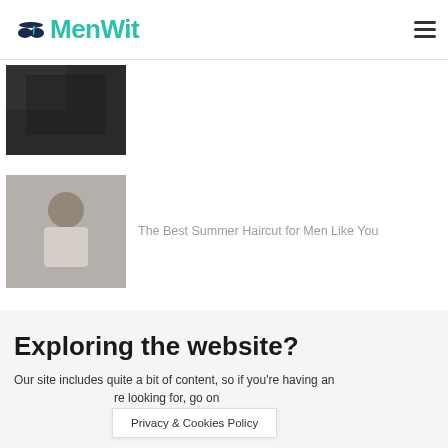MenWit
[Figure (photo): Partial dark/shadowed image at top, cropped photo of person or outdoor scene]
[Figure (photo): Photo of a young man with short curly hair against a grey background]
The Best Summer Haircut for Men Like You
Exploring the website?
Our site includes quite a bit of content, so if you're having an [overlay] re looking for, go on
Privacy & Cookies Policy